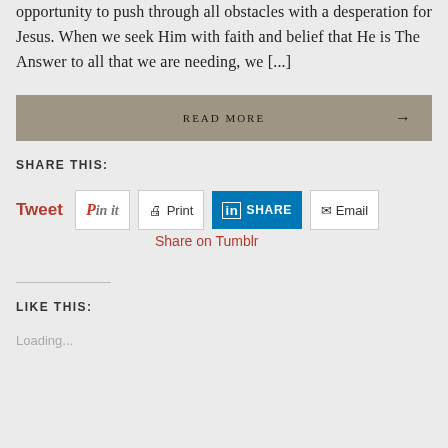opportunity to push through all obstacles with a desperation for Jesus. When we seek Him with faith and belief that He is The Answer to all that we are needing, we [...]
READ MORE →
SHARE THIS:
Tweet  Pin it  Print  SHARE  Email
Share on Tumblr
LIKE THIS:
Loading...